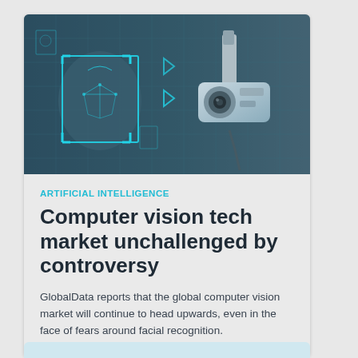[Figure (photo): Photo showing facial recognition AI overlay on a face (left, teal-toned) and a security surveillance camera (right), against a digital/urban background.]
ARTIFICIAL INTELLIGENCE
Computer vision tech market unchallenged by controversy
GlobalData reports that the global computer vision market will continue to head upwards, even in the face of fears around facial recognition.